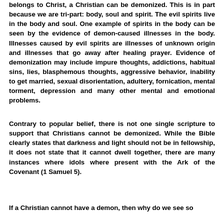belongs to Christ, a Christian can be demonized. This is in part because we are tri-part: body, soul and spirit. The evil spirits live in the body and soul. One example of spirits in the body can be seen by the evidence of demon-caused illnesses in the body. Illnesses caused by evil spirits are illnesses of unknown origin and illnesses that go away after healing prayer. Evidence of demonization may include impure thoughts, addictions, habitual sins, lies, blasphemous thoughts, aggressive behavior, inability to get married, sexual disorientation, adultery, fornication, mental torment, depression and many other mental and emotional problems.
Contrary to popular belief, there is not one single scripture to support that Christians cannot be demonized. While the Bible clearly states that darkness and light should not be in fellowship, it does not state that it cannot dwell together, there are many instances where idols where present with the Ark of the Covenant (1 Samuel 5).
If a Christian cannot have a demon, then why do we see so many Christians doing it? Many of them even admit doing it.